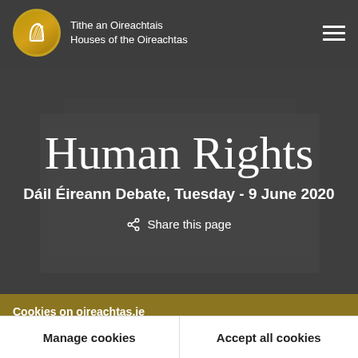Tithe an Oireachtais Houses of the Oireachtas
Human Rights
Dáil Éireann Debate, Tuesday - 9 June 2020
Share this page
Cookies on oireachtas.ie
We use cookies to ensure our website works well. We'd like to use analytics and functionality cookies to help us improve it but we require your consent to do so. If you don't consent, only necessary cookies will be used. Read more about our cookies
Manage cookies
Accept all cookies